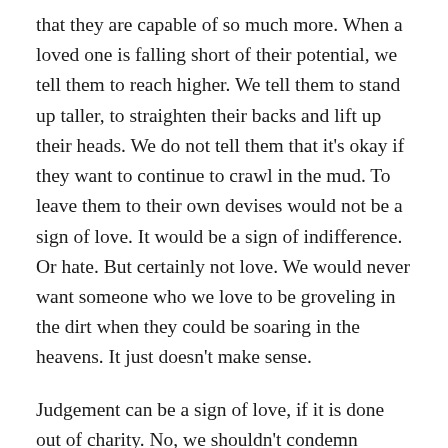that they are capable of so much more.  When a loved one is falling short of their potential, we tell them to reach higher.  We tell them to stand up taller, to straighten their backs and lift up their heads.  We do not tell them that it's okay if they want to continue to crawl in the mud.  To leave them to their own devises would not be a sign of love.  It would be a sign of indifference.  Or hate.  But certainly not love.  We would never want someone who we love to be groveling in the dirt when they could be soaring in the heavens.  It just doesn't make sense.
Judgement can be a sign of love, if it is done out of charity.  No, we shouldn't condemn people.  We should leave that up to God.  But we can call them out for their actions.  We can demand that they admit their sinfulness.  We can show them that they have wandered around blind, and that all they need to do is remove their blindfold to